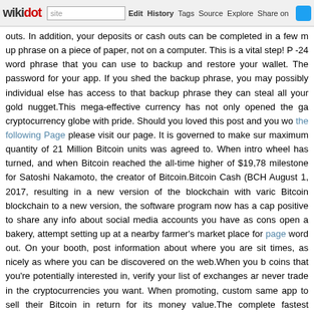wikidot | site Edit History Tags Source Explore Share on [Twitter]
outs. In addition, your deposits or cash outs can be completed in a few m up phrase on a piece of paper, not on a computer. This is a vital step! P -24 word phrase that you can use to backup and restore your wallet. The password for your app. If you shed the backup phrase, you may possibly individual else has access to that backup phrase they can steal all your gold nugget.This mega-effective currency has not only opened the ga cryptocurrency globe with pride. Should you loved this post and you wo the following Page please visit our page. It is governed to make sur maximum quantity of 21 Million Bitcoin units was agreed to. When intro wheel has turned, and when Bitcoin reached the all-time higher of $19,78 milestone for Satoshi Nakamoto, the creator of Bitcoin.Bitcoin Cash (BCH August 1, 2017, resulting in a new version of the blockchain with varic Bitcoin blockchain to a new version, the software program now has a cap positive to share any info about social media accounts you have as cons open a bakery, attempt setting up at a nearby farmer's market place for page word out. On your booth, post information about where you are sit times, as nicely as where you can be discovered on the web.When you b coins that you're potentially interested in, verify your list of exchanges ar never trade in the cryptocurrencies you want. When promoting, custom same app to sell their Bitcoin in return for its money value.The complete fastest developing segment within the luxury market place. Vintage sho exactly where you could maybe find anything cool, but it wouldn't necessa browsing for, and they have been intended for folks who either didn't wa nerds searching for inspiration. But now it has turn out to be a massive fa that vintage gem. If you have an old luxury item, it might even sell for m longer accessible, adding to its cache and value. Take the item in to be trade a lot more currency than you can afford to shed. Bear in mind that ti be armed with great information and a strong investment strategy, is oft